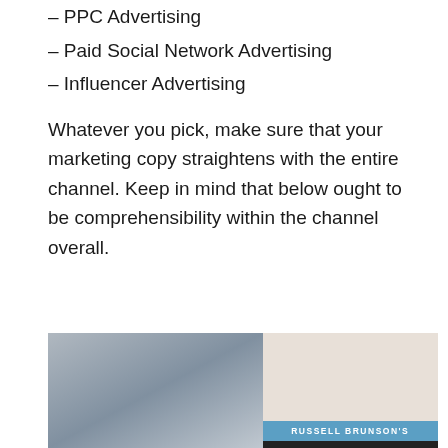– PPC Advertising
– Paid Social Network Advertising
– Influencer Advertising
Whatever you pick, make sure that your marketing copy straightens with the entire channel. Keep in mind that below ought to be comprehensibility within the channel overall.
[Figure (photo): Partial photo at bottom of page showing a blurred indoor scene on the left and a light-colored background on the right with a teal banner reading 'RUSSELL BRUNSON'S' and a dark bar below it.]